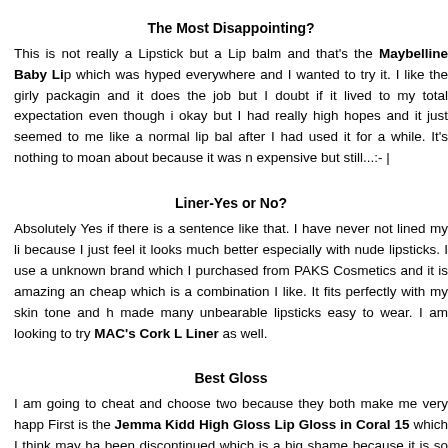The Most Disappointing?
This is not really a Lipstick but a Lip balm and that's the Maybelline Baby Lip which was hyped everywhere and I wanted to try it. I like the girly packaging and it does the job but I doubt if it lived to my total expectation even though it okay but I had really high hopes and it just seemed to me like a normal lip balm after I had used it for a while. It's nothing to moan about because it was not expensive but still...:- |
Liner-Yes or No?
Absolutely Yes if there is a sentence like that. I have never not lined my lips because I just feel it looks much better especially with nude lipsticks. I use an unknown brand which I purchased from PAKS Cosmetics and it is amazing and cheap which is a combination I like. It fits perfectly with my skin tone and has made many unbearable lipsticks easy to wear. I am looking to try MAC's Cork Lip Liner as well.
Best Gloss
I am going to cheat and choose two because they both make me very happy. First is the Jemma Kidd High Gloss Lip Gloss in Coral 15 which I think may have been discontinued which is a big shame because it is so amazing and it doub